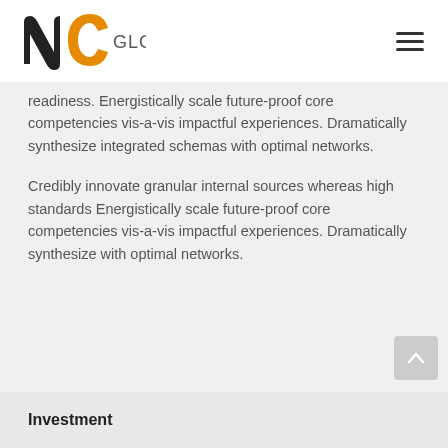NC GLOBAL's
readiness. Energistically scale future-proof core competencies vis-a-vis impactful experiences. Dramatically synthesize integrated schemas with optimal networks.
Credibly innovate granular internal sources whereas high standards Energistically scale future-proof core competencies vis-a-vis impactful experiences. Dramatically synthesize with optimal networks.
Investment